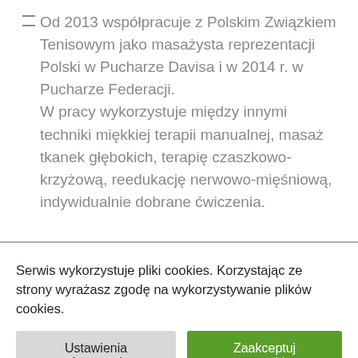Od 2013 współpracuje z Polskim Związkiem Tenisowym jako masażysta reprezentacji Polski w Pucharze Davisa i w 2014 r. w Pucharze Federacji. W pracy wykorzystuje między innymi techniki miękkiej terapii manualnej, masaż tkanek głębokich, terapię czaszkowo-krzyżową, reedukację nerwowo-mięśniową, indywidualnie dobrane ćwiczenia.
Serwis wykorzystuje pliki cookies. Korzystając ze strony wyrażasz zgodę na wykorzystywanie plików cookies.